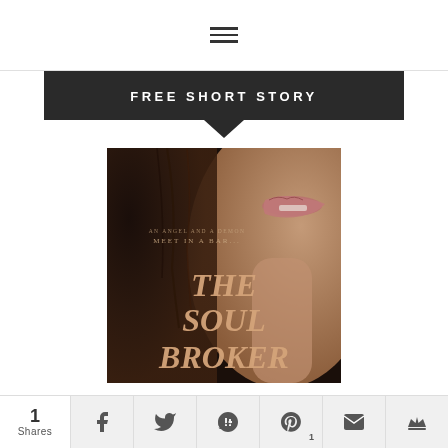☰ (hamburger menu icon)
FREE SHORT STORY
[Figure (illustration): Book cover for 'The Soul Broker' showing a close-up of a woman's face (lower half), dark moody tones. Text on cover reads 'MEET IN A BAR...' and 'THE SOUL BROKER']
1 Shares | Facebook | Twitter | Google+ | Pinterest 1 | Email | Crown